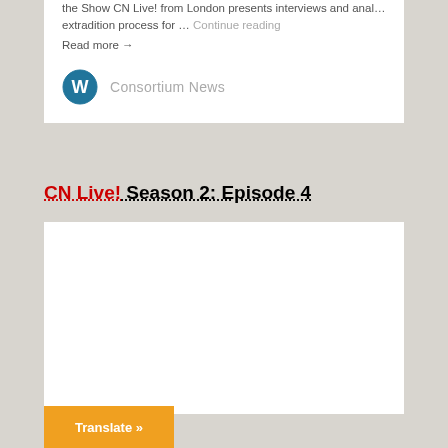the Show CN Live! from London presents interviews and anal… extradition process for … Continue reading
Read more →
Consortium News
CN Live! Season 2: Episode 4
[Figure (other): White content card area for embedded video or content]
Translate »